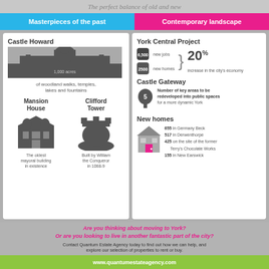The perfect balance of old and new
Masterpieces of the past
Contemporary landscape
[Figure (infographic): Castle Howard infographic with silhouette showing 1,000 acres of woodland walks, temples, lakes and fountains. Mansion House - The oldest mayoral building in existence. Clifford Tower - Built by William the Conqueror in 1068-9.]
[Figure (infographic): York Central Project: 6,500 new jobs, 2500 new homes = 20% increase in the city's economy. Castle Gateway: 5 key areas to be redeveloped into public spaces for a more dynamic York. New homes: 655 in Germany Beck, 517 in Derwenthorpe, 425 on the site of the former Terry's Chocolate Works, 155 in New Earswick.]
Are you thinking about moving to York? Or are you looking to live in another fantastic part of the city?
Contact Quantum Estate Agency today to find out how we can help, and explore our selection of properties to rent or buy.
www.quantumestateagency.com